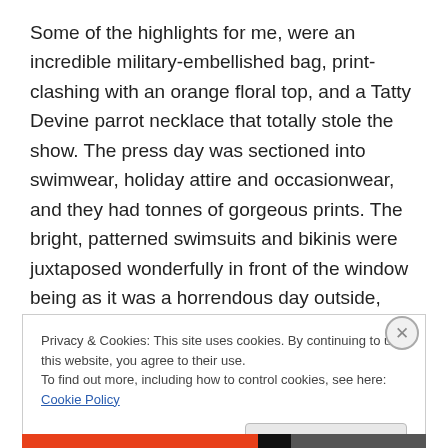Some of the highlights for me, were an incredible military-embellished bag, print-clashing with an orange floral top, and a Tatty Devine parrot necklace that totally stole the show. The press day was sectioned into swimwear, holiday attire and occasionwear, and they had tonnes of gorgeous prints. The bright, patterned swimsuits and bikinis were juxtaposed wonderfully in front of the window being as it was a horrendous day outside, typical London rain!
Privacy & Cookies: This site uses cookies. By continuing to use this website, you agree to their use. To find out more, including how to control cookies, see here: Cookie Policy